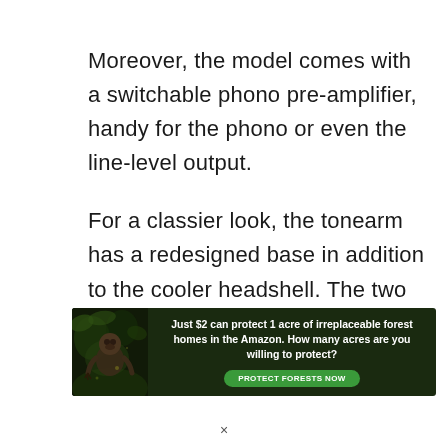Moreover, the model comes with a switchable phono pre-amplifier, handy for the phono or even the line-level output.
For a classier look, the tonearm has a redesigned base in addition to the cooler headshell. The two are not only impressive in outlook, but they
[Figure (infographic): Advertisement banner with dark forest background and sloth image. Text reads: 'Just $2 can protect 1 acre of irreplaceable forest homes in the Amazon. How many acres are you willing to protect?' with a green 'PROTECT FORESTS NOW' button.]
×